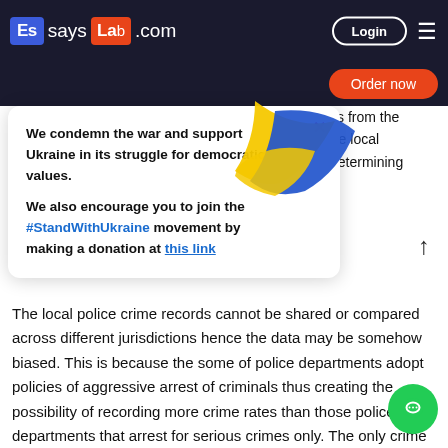EssaysLab.com — Login
[Figure (screenshot): Website header with EssaysLab.com logo, Login button, hamburger menu, Order now button, and a Ukraine support popup overlay with blue-yellow flag graphic]
We condemn the war and support Ukraine in its struggle for democratic values. We also encourage you to join the #StandWithUkraine movement by making a donation at this link
The local police crime records cannot be shared or compared across different jurisdictions hence the data may be somehow biased. This is because the some of police departments adopt policies of aggressive arrest of criminals thus creating the possibility of recording more crime rates than those police departments that arrest for serious crimes only. The only crime that is taken serious by all the local police departments is the homicide crime because it is reported by civilians to the police for clear